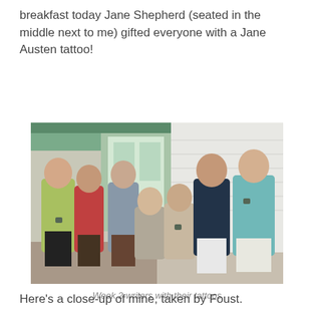breakfast today Jane Shepherd (seated in the middle next to me) gifted everyone with a Jane Austen tattoo!
[Figure (photo): Group photo of seven women on a porch, each showing a Jane Austen tattoo on their arms. They are smiling and laughing.]
Week 2 writers with their tattoos
Here's a close-up of mine, taken by Foust.